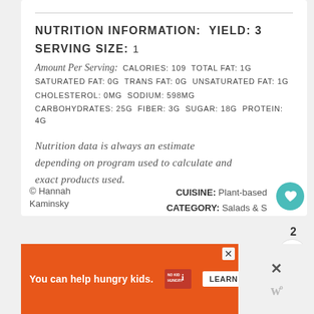NUTRITION INFORMATION:  YIELD: 3
SERVING SIZE: 1
Amount Per Serving:  CALORIES: 109 TOTAL FAT: 1g
SATURATED FAT: 0g TRANS FAT: 0g UNSATURATED FAT: 1g
CHOLESTEROL: 0mg SODIUM: 598mg
CARBOHYDRATES: 25g FIBER: 3g SUGAR: 18g PROTEIN: 4g
Nutrition data is always an estimate depending on program used to calculate and exact products used.
© Hannah Kaminsky
CUISINE: Plant-based  CATEGORY: Salads & S
You can help hungry kids.  NO KID HUNGRY  LEARN HOW